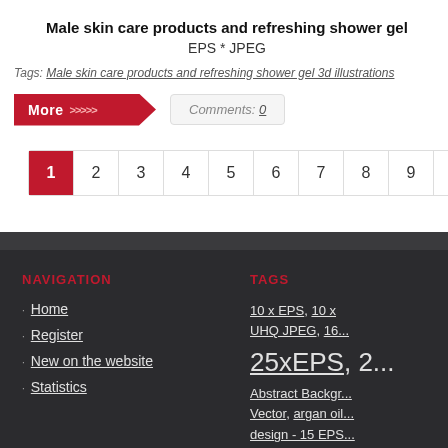Male skin care products and refreshing shower gel
EPS * JPEG
Tags: Male skin care products and refreshing shower gel 3d illustrations
More >>>>
Comments: 0
[Figure (other): Pagination bar with pages 1 (active/red), 2, 3, 4, 5, 6, 7, 8, 9, 10, ... (red), 264, < and > navigation arrows]
NAVIGATION
Home
Register
New on the website
Statistics
TAGS
10 x EPS, 10 x UHQ JPEG, 16... 25xEPS, 2... Abstract Background Vector, argan oil... design - 15 EPS... layout design, B... vector template,... design layout te... brochure vector...